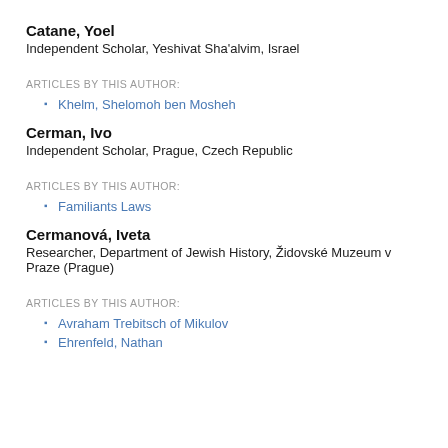Catane, Yoel
Independent Scholar, Yeshivat Sha'alvim, Israel
ARTICLES BY THIS AUTHOR:
Khelm, Shelomoh ben Mosheh
Cerman, Ivo
Independent Scholar, Prague, Czech Republic
ARTICLES BY THIS AUTHOR:
Familiants Laws
Cermanová, Iveta
Researcher, Department of Jewish History, Židovské Muzeum v Praze (Prague)
ARTICLES BY THIS AUTHOR:
Avraham Trebitsch of Mikulov
Ehrenfeld, Nathan